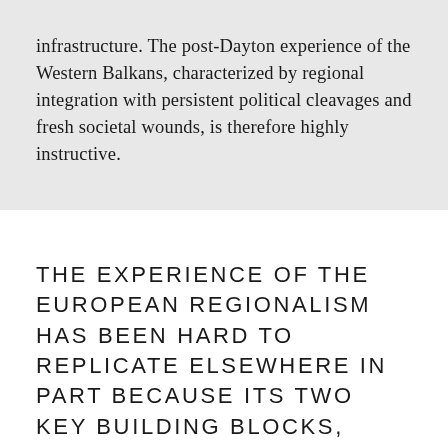ideas to update the global security infrastructure. The post-Dayton experience of the Western Balkans, characterized by regional integration with persistent political cleavages and fresh societal wounds, is therefore highly instructive.
The experience of the European regionalism has been hard to replicate elsewhere in part because its two key building blocks, democratic nation-states and the